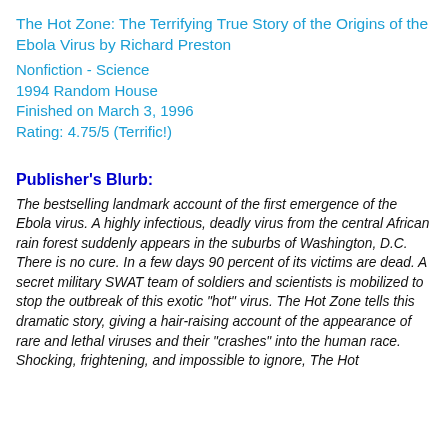The Hot Zone: The Terrifying True Story of the Origins of the Ebola Virus by Richard Preston
Nonfiction - Science
1994 Random House
Finished on March 3, 1996
Rating: 4.75/5 (Terrific!)
Publisher's Blurb:
The bestselling landmark account of the first emergence of the Ebola virus. A highly infectious, deadly virus from the central African rain forest suddenly appears in the suburbs of Washington, D.C. There is no cure. In a few days 90 percent of its victims are dead. A secret military SWAT team of soldiers and scientists is mobilized to stop the outbreak of this exotic "hot" virus. The Hot Zone tells this dramatic story, giving a hair-raising account of the appearance of rare and lethal viruses and their "crashes" into the human race. Shocking, frightening, and impossible to ignore, The Hot